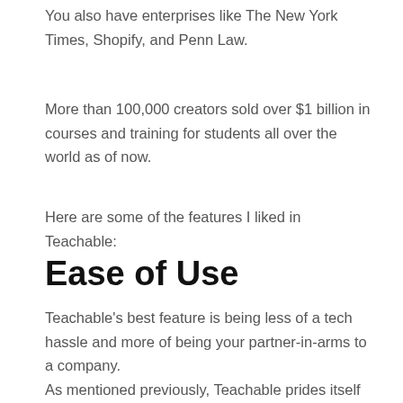You also have enterprises like The New York Times, Shopify, and Penn Law.
More than 100,000 creators sold over $1 billion in courses and training for students all over the world as of now.
Here are some of the features I liked in Teachable:
Ease of Use
Teachable's best feature is being less of a tech hassle and more of being your partner-in-arms to a company.
As mentioned previously, Teachable prides itself on its ease of use. Tech novices will find it easy to go around and operate the course.
The dashboard is the first thing a user would see after registering on the website. There you may see headers like users, websites, sales, emails, and cleanse. It's pretty straightforward. It is a lot...